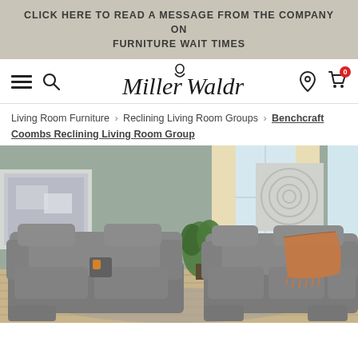CLICK HERE TO READ A MESSAGE FROM THE COMPANY ON FURNITURE WAIT TIMES
[Figure (logo): Miller Waldrop furniture store logo with script text and figure icon]
Living Room Furniture > Reclining Living Room Groups > Benchcraft Coombs Reclining Living Room Group
[Figure (photo): Photo of a gray reclining living room group (sofa and loveseat) in a staged room with curtains, plants, and wall art]